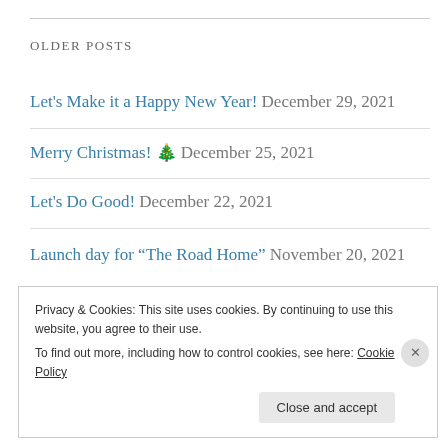OLDER POSTS
Let's Make it a Happy New Year! December 29, 2021
Merry Christmas! 🎄 December 25, 2021
Let's Do Good! December 22, 2021
Launch day for “The Road Home” November 20, 2021
Privacy & Cookies: This site uses cookies. By continuing to use this website, you agree to their use. To find out more, including how to control cookies, see here: Cookie Policy